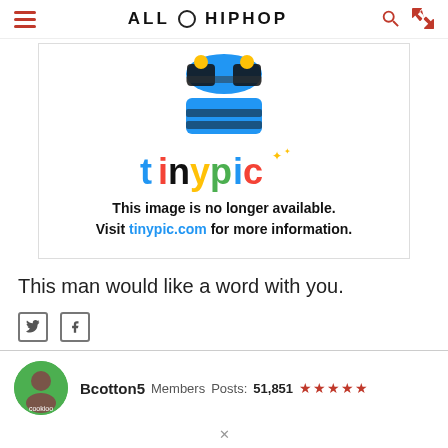ALL HIP HOP
[Figure (other): Tinypic placeholder image showing the tinypic robot logo and text: This image is no longer available. Visit tinypic.com for more information.]
This man would like a word with you.
Bcotton5   Members   Posts: 51,851   ★★★★★